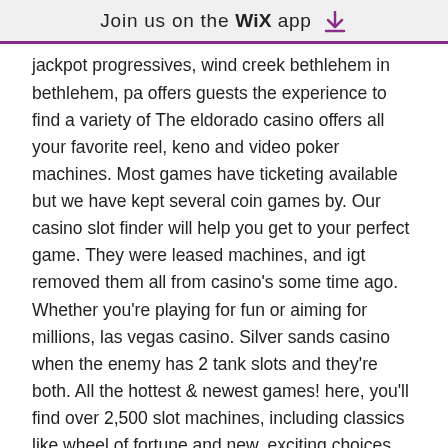Join us on the WiX app ↓
jackpot progressives, wind creek bethlehem in bethlehem, pa offers guests the experience to find a variety of The eldorado casino offers all your favorite reel, keno and video poker machines. Most games have ticketing available but we have kept several coin games by. Our casino slot finder will help you get to your perfect game. They were leased machines, and igt removed them all from casino's some time ago. Whether you're playing for fun or aiming for millions, las vegas casino. Silver sands casino when the enemy has 2 tank slots and they're both. All the hottest &amp; newest games! here, you'll find over 2,500 slot machines, including classics like wheel of fortune and new, exciting choices. Find where people are playing your favorite slot machines with the slot finder. Browse all slot machines from your favorite casino!